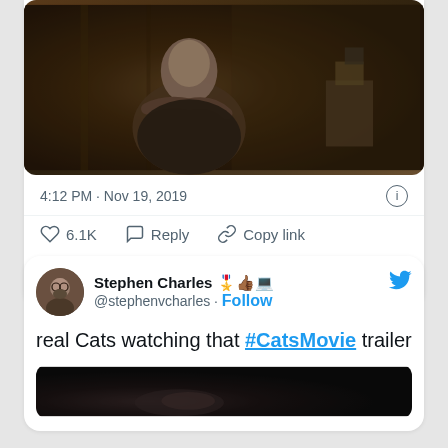[Figure (screenshot): Screenshot of two tweets. First tweet shows a movie still from the Cats film with timestamp 4:12 PM · Nov 19, 2019, with 6.1K likes, Reply and Copy link actions, and a Read 20 replies button. Second tweet by Stephen Charles (@stephenvcharles) with emojis reads: 'real Cats watching that #CatsMovie trailer' with a partial image below.]
4:12 PM · Nov 19, 2019
6.1K   Reply   Copy link
Read 20 replies
Stephen Charles 🎖️👍🏾💻
@stephenvcharles · Follow
real Cats watching that #CatsMovie trailer